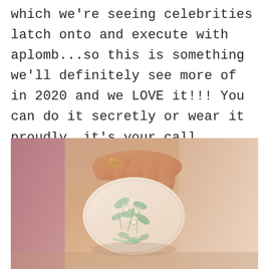which we're seeing celebrities latch onto and execute with aplomb...so this is something we'll definitely see more of in 2020 and we LOVE it!!! You can do it secretly or wear it proudly, it's your call.
[Figure (photo): Close-up photo of a person's hands holding a delicate embroidered fabric piece with floral/botanical embroidery in light green and white on a blush/cream background, with pink fabric visible in the background.]